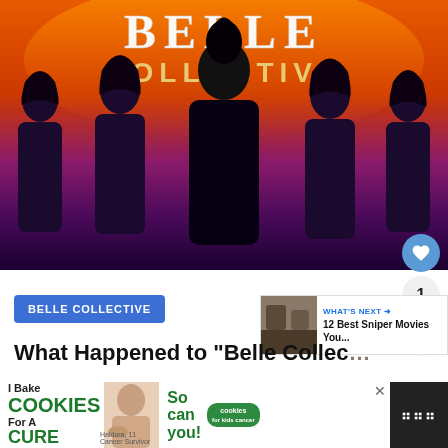[Figure (photo): Belle Collective TV show promotional image with five women in black outfits against a sunset orange/purple gradient background. Text at top reads 'BELLE COLLECTIVE' in large stylized letters.]
BELLE COLLECTIVE
[Figure (other): What's Next panel showing thumbnail image and text '12 Best Sniper Movies You...']
What Happened to “Belle Collec…
Jul 20, 2022 • Buddy TV
[Figure (other): Advertisement banner: 'I Bake COOKIES For A CURE' with Haldora, 11 Cancer Survivor, and text 'So can you!' with cookies for kids cancer logo]